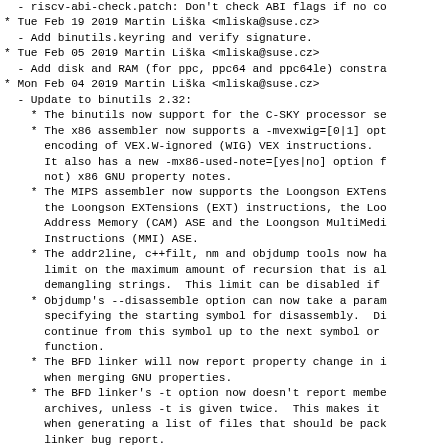- riscv-abi-check.patch: Don't check ABI flags if no co
* Tue Feb 19 2019 Martin Liška <mliska@suse.cz>
  - Add binutils.keyring and verify signature.
* Tue Feb 05 2019 Martin Liška <mliska@suse.cz>
  - Add disk and RAM (for ppc, ppc64 and ppc64le) constra
* Mon Feb 04 2019 Martin Liška <mliska@suse.cz>
  - Update to binutils 2.32:
    * The binutils now support for the C-SKY processor se
    * The x86 assembler now supports a -mvexwig=[0|1] opt
      encoding of VEX.W-ignored (WIG) VEX instructions.
      It also has a new -mx86-used-note=[yes|no] option f
      not) x86 GNU property notes.
    * The MIPS assembler now supports the Loongson EXTens
      the Loongson EXTensions (EXT) instructions, the Loo
      Address Memory (CAM) ASE and the Loongson MultiMedi
      Instructions (MMI) ASE.
    * The addr2line, c++filt, nm and objdump tools now ha
      limit on the maximum amount of recursion that is al
      demangling strings.  This limit can be disabled if
    * Objdump's --disassemble option can now take a param
      specifying the starting symbol for disassembly.  Di
      continue from this symbol up to the next symbol or
      function.
    * The BFD linker will now report property change in i
      when merging GNU properties.
    * The BFD linker's -t option now doesn't report membe
      archives, unless -t is given twice.  This makes it
      when generating a list of files that should be pack
      linker bug report.
    * The GOLD linker has improved warning messages for m